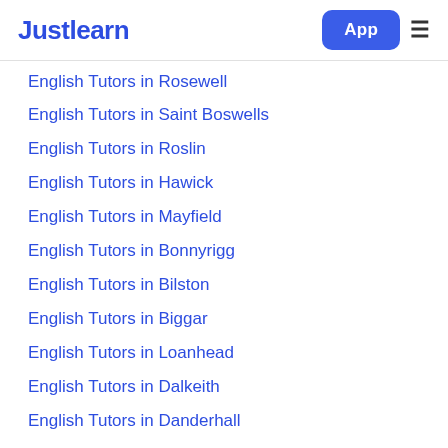Justlearn
English Tutors in Rosewell
English Tutors in Saint Boswells
English Tutors in Roslin
English Tutors in Hawick
English Tutors in Mayfield
English Tutors in Bonnyrigg
English Tutors in Bilston
English Tutors in Biggar
English Tutors in Loanhead
English Tutors in Dalkeith
English Tutors in Danderhall
English Tutors in Whitecraig
English Tutors in Ormiston
English Tutors in Pencaitland
English Tutors in Balerno
English Tutors in Colinton